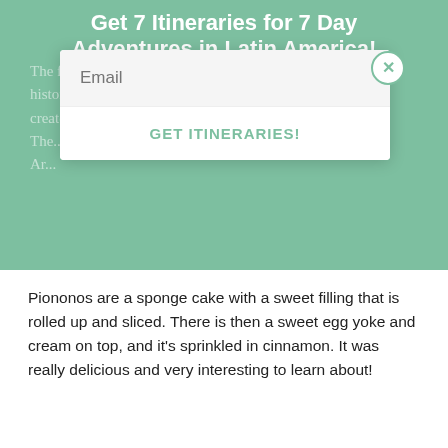Get 7 Itineraries for 7 Day Adventures in Latin America!
The first dish that comes to my mind has a really interesting history behind it. It’s called Piononos and was created in honor of the ivi… in the 1800s. The… is that the… selected for a traditional Ar…
Email
GET ITINERARIES!
Piononos are a sponge cake with a sweet filling that is rolled up and sliced. There is then a sweet egg yoke and cream on top, and it’s sprinkled in cinnamon. It was really delicious and very interesting to learn about!